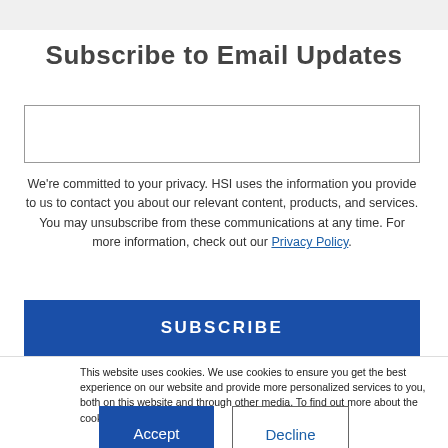Subscribe to Email Updates
We're committed to your privacy. HSI uses the information you provide to us to contact you about our relevant content, products, and services. You may unsubscribe from these communications at any time. For more information, check out our Privacy Policy.
SUBSCRIBE
This website uses cookies. We use cookies to ensure you get the best experience on our website and provide more personalized services to you, both on this website and through other media. To find out more about the cookies we use: Learn More
Accept
Decline